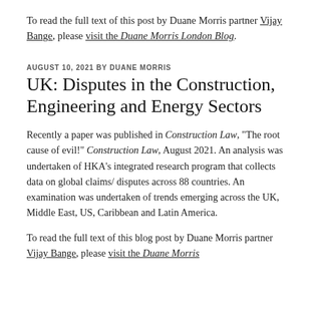To read the full text of this post by Duane Morris partner Vijay Bange, please visit the Duane Morris London Blog.
AUGUST 10, 2021 BY DUANE MORRIS
UK: Disputes in the Construction, Engineering and Energy Sectors
Recently a paper was published in Construction Law, “The root cause of evil!” Construction Law, August 2021. An analysis was undertaken of HKA’s integrated research program that collects data on global claims/disputes across 88 countries. An examination was undertaken of trends emerging across the UK, Middle East, US, Caribbean and Latin America.
To read the full text of this blog post by Duane Morris partner Vijay Bange, please visit the Duane Morris